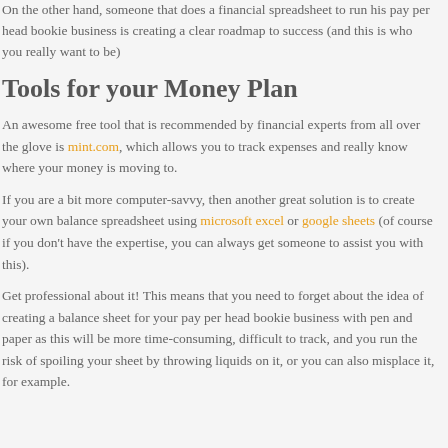On the other hand, someone that does a financial spreadsheet to run his pay per head bookie business is creating a clear roadmap to success (and this is who you really want to be)
Tools for your Money Plan
An awesome free tool that is recommended by financial experts from all over the glove is mint.com, which allows you to track expenses and really know where your money is moving to.
If you are a bit more computer-savvy, then another great solution is to create your own balance spreadsheet using microsoft excel or google sheets (of course if you don't have the expertise, you can always get someone to assist you with this).
Get professional about it! This means that you need to forget about the idea of creating a balance sheet for your pay per head bookie business with pen and paper as this will be more time-consuming, difficult to track, and you run the risk of spoiling your sheet by throwing liquids on it, or you can also misplace it, for example.